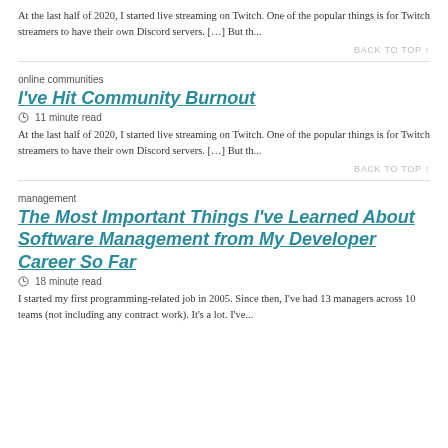At the last half of 2020, I started live streaming on Twitch. One of the popular things is for Twitch streamers to have their own Discord servers. […] But th...
BACK TO TOP ↑
online communities
I've Hit Community Burnout
⏱ 11 minute read
At the last half of 2020, I started live streaming on Twitch. One of the popular things is for Twitch streamers to have their own Discord servers. […] But th...
BACK TO TOP ↑
management
The Most Important Things I've Learned About Software Management from My Developer Career So Far
⏱ 18 minute read
I started my first programming-related job in 2005. Since then, I've had 13 managers across 10 teams (not including any contract work). It's a lot. I've...